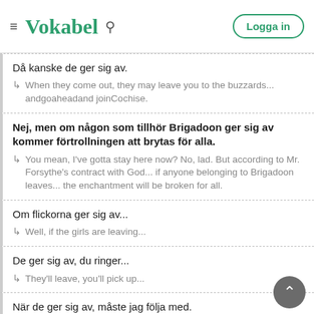Vokabel — Logga in
Då kanske de ger sig av.
↳ When they come out, they may leave you to the buzzards... andgoaheadand joinCochise.
Nej, men om någon som tillhör Brigadoon ger sig av kommer förtrollningen att brytas för alla.
↳ You mean, I've gotta stay here now? No, lad. But according to Mr. Forsythe's contract with God... if anyone belonging to Brigadoon leaves... the enchantment will be broken for all.
Om flickorna ger sig av...
↳ Well, if the girls are leaving...
De ger sig av, du ringer...
↳ They'll leave, you'll pick up...
När de ger sig av, måste jag följa med.